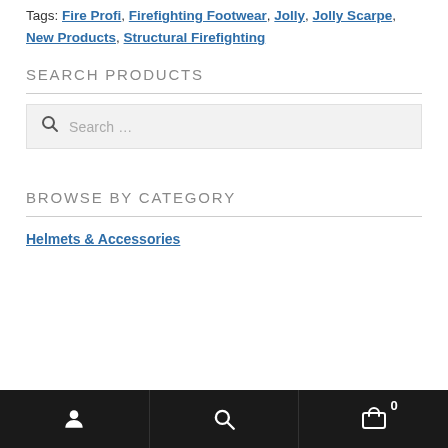Tags: Fire Profi, Firefighting Footwear, Jolly, Jolly Scarpe, New Products, Structural Firefighting
SEARCH PRODUCTS
Search …
BROWSE BY CATEGORY
Helmets & Accessories
User icon | Search icon | Cart (0)